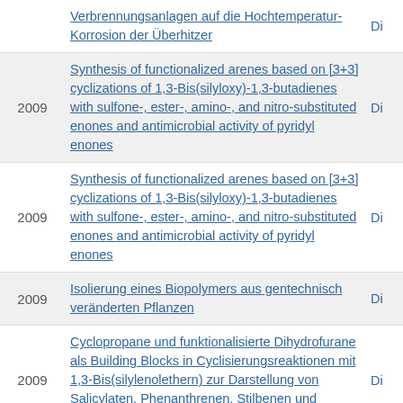| Year | Title | Type |
| --- | --- | --- |
|  | Verbrennungsanlagen auf die Hochtemperatur-Korrosion der Überhitzer | Di |
| 2009 | Synthesis of functionalized arenes based on [3+3] cyclizations of 1,3-Bis(silyloxy)-1,3-butadienes with sulfone-, ester-, amino-, and nitro-substituted enones and antimicrobial activity of pyridyl enones | Di |
| 2009 | Synthesis of functionalized arenes based on [3+3] cyclizations of 1,3-Bis(silyloxy)-1,3-butadienes with sulfone-, ester-, amino-, and nitro-substituted enones and antimicrobial activity of pyridyl enones | Di |
| 2009 | Isolierung eines Biopolymers aus gentechnisch veränderten Pflanzen | Di |
| 2009 | Cyclopropane und funktionalisierte Dihydrofurane als Building Blocks in Cyclisierungsreaktionen mit 1,3-Bis(silylenolethern) zur Darstellung von Salicylaten, Phenanthrenen, Stilbenen und Chromanen | Di |
| 2009 | Synthosen, Strukturen und Eigenschaften | Di |